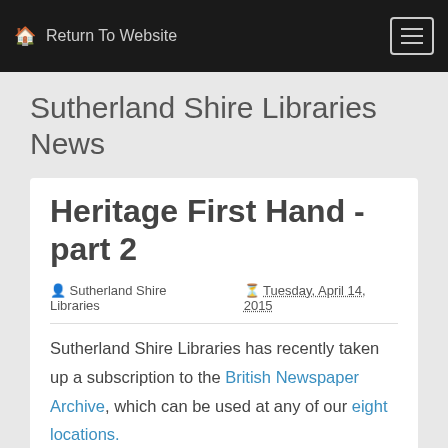Return To Website
Sutherland Shire Libraries News
Heritage First Hand - part 2
Sutherland Shire Libraries  Tuesday, April 14, 2015
Sutherland Shire Libraries has recently taken up a subscription to the British Newspaper Archive, which can be used at any of our eight locations.